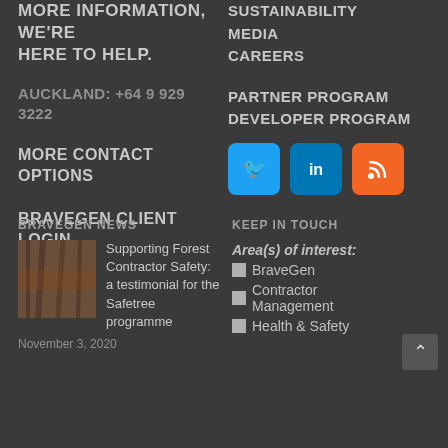more information, we're here to help.
AUCKLAND: +64 9 929 3222
MORE CONTACT OPTIONS
BRAVEGEN CLIENT LOGIN
SUSTAINABILITY
MEDIA
CAREERS
PARTNER PROGRAM
DEVELOPER PROGRAM
[Figure (logo): Twitter social media button (blue)]
[Figure (logo): LinkedIn social media button (blue)]
[Figure (logo): RSS feed button (orange)]
BRAVEGEN NEWS
KEEP IN TOUCH
[Figure (photo): Forest/logging photo thumbnail]
Supporting Forest Contractor Safety: a testimonial for the Safetree programme
November 3, 2020
Area(s) of interest:
BraveGen
Contractor Management
Health & Safety